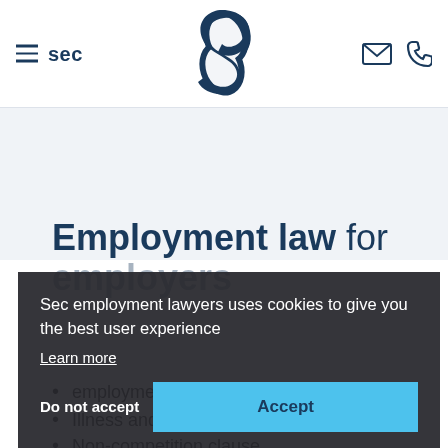≡ sec
[Figure (logo): Circular swirl logo mark in dark navy blue]
Employment law for employers
Sec employment lawyers uses cookies to give you the best user experience
Learn more
Do not accept    Accept
employment contract
Illness and disability
Non-competition clause
Performance discussions